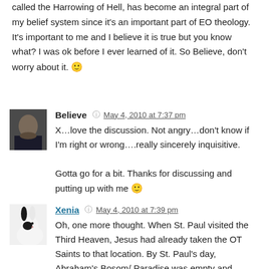called the Harrowing of Hell, has become an integral part of my belief system since it's an important part of EO theology. It's important to me and I believe it is true but you know what? I was ok before I ever learned of it. So Believe, don't worry about it. 🙂
Believe  May 4, 2010 at 7:37 pm
X…love the discussion. Not angry…don't know if I'm right or wrong….really sincerely inquisitive.

Gotta go for a bit. Thanks for discussing and putting up with me 🙂
Xenia  May 4, 2010 at 7:39 pm
Oh, one more thought. When St. Paul visited the Third Heaven, Jesus had already taken the OT Saints to that location. By St. Paul's day, Abraham's Bosom/ Paradise was empty and everyone had moved to heaven, which is to say, paradise moved from Hades to Heaven.